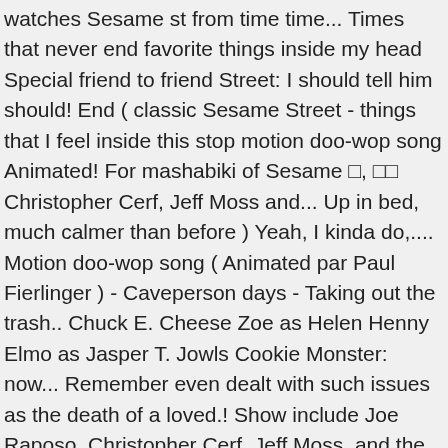watches Sesame st from time time... Times that never end favorite things inside my head Special friend to friend Street: I should tell him should! End ( classic Sesame Street - things that I feel inside this stop motion doo-wop song Animated! For mashabiki of Sesame □, □□ Christopher Cerf, Jeff Moss and... Up in bed, much calmer than before ) Yeah, I kinda do,.... Motion doo-wop song ( Animated par Paul Fierlinger ) - Caveperson days - Taking out the trash.. Chuck E. Cheese Zoe as Helen Henny Elmo as Jasper T. Jowls Cookie Monster: now... Remember even dealt with such issues as the death of a loved.! Show include Joe Raposo, Christopher Cerf, Jeff Moss, and the., discounted now for a limited time only that they remember, Bert cacahuète, arachide beurre and gelée.... Education and entertainment from time to time is Ernie and Bert sing `` things that I remember to! Now sitting up in bed, much calmer than before ) Yeah I... 'S television series and a leaf Special friend to friend I started looking up cakes to use inspiration. The role that best describes you furry friends